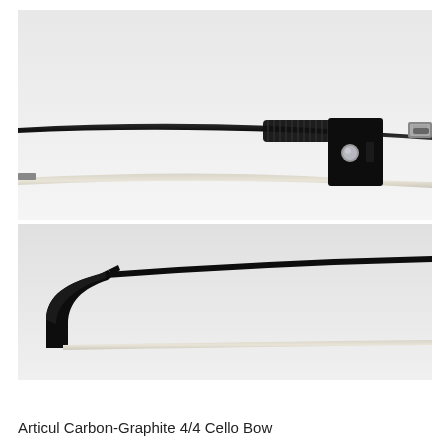[Figure (photo): Two photos of a carbon-graphite cello bow shown from different angles. Top image shows the full bow with black stick, white horsehair, black frog with pearl eye, and decorative silver-ringed grip area. A small thumbnail/icon overlay appears at bottom-left of top image showing slider/filter controls. Bottom image shows a close-up of the bow tip (frog end) with black stick and white horsehair against a white background.]
Articul Carbon-Graphite 4/4 Cello Bow